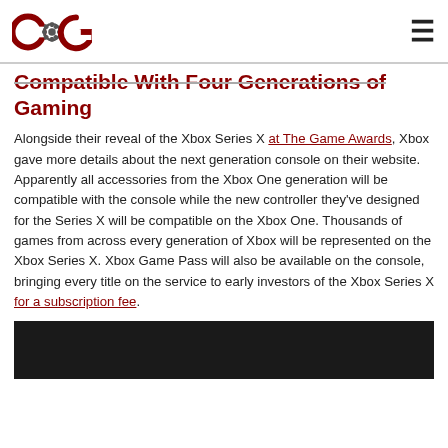[COG Logo] [Hamburger menu]
Compatible With Four Generations of Gaming
Alongside their reveal of the Xbox Series X at The Game Awards, Xbox gave more details about the next generation console on their website. Apparently all accessories from the Xbox One generation will be compatible with the console while the new controller they've designed for the Series X will be compatible on the Xbox One. Thousands of games from across every generation of Xbox will be represented on the Xbox Series X. Xbox Game Pass will also be available on the console, bringing every title on the service to early investors of the Xbox Series X for a subscription fee.
[Figure (photo): Dark/black image at the bottom of the page, partially visible]